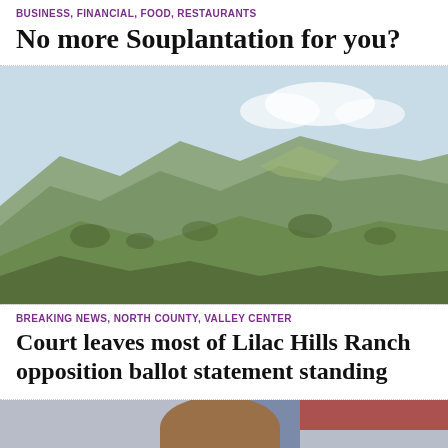BUSINESS, FINANCIAL, FOOD, RESTAURANTS
No more Souplantation for you?
[Figure (photo): Aerial/distant view of hilly landscape with dry scrubland and some tree-covered hills under a partly cloudy sky]
BREAKING NEWS, NORTH COUNTY, VALLEY CENTER
Court leaves most of Lilac Hills Ranch opposition ballot statement standing
[Figure (photo): Portrait photo of a middle-aged man in a suit, smiling, with an American flag visible in the background]
GRAPEVINE INVESTIGATION, OPINION, POLITICS
When ALEC's Joel Anderson says drain the